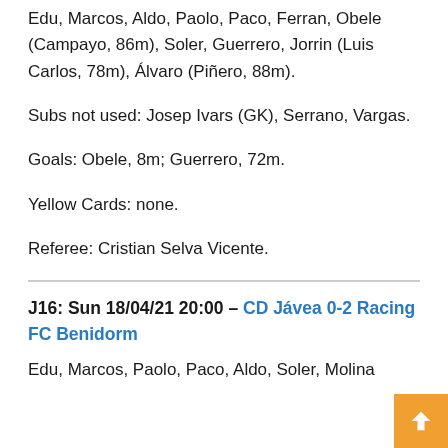Edu, Marcos, Aldo, Paolo, Paco, Ferran, Obele (Campayo, 86m), Soler, Guerrero, Jorrin (Luis Carlos, 78m), Álvaro (Piñero, 88m).
Subs not used: Josep Ivars (GK), Serrano, Vargas.
Goals: Obele, 8m; Guerrero, 72m.
Yellow Cards: none.
Referee: Cristian Selva Vicente.
J16: Sun 18/04/21 20:00 – CD Jávea 0-2 Racing FC Benidorm
Edu, Marcos, Paolo, Paco, Aldo, Soler, Molina